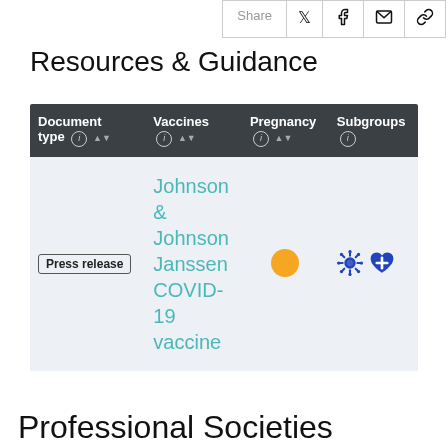Share
Resources & Guidance
| Document type | Vaccines | Pregnancy | Subgroups |
| --- | --- | --- | --- |
| Press release | Johnson & Johnson Janssen COVID-19 vaccine | ● | 🦠 💙 |
Professional Societies